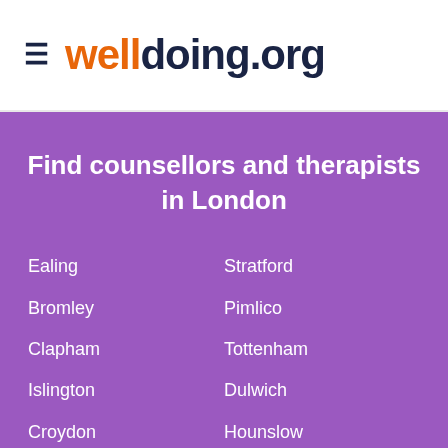welldoing.org
Find counsellors and therapists in London
Ealing
Stratford
Bromley
Pimlico
Clapham
Tottenham
Islington
Dulwich
Croydon
Hounslow
Wimbledon
Angel
Hackney
Hammersmith